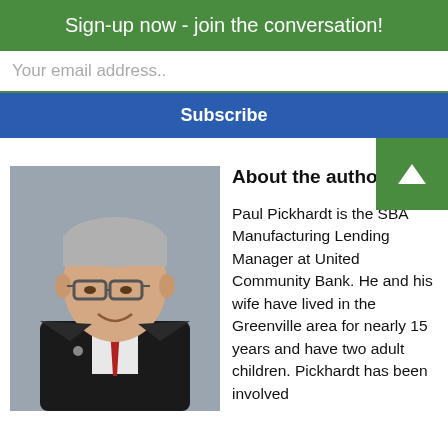Sign-up now - join the conversation!
Your email address..
Subscribe
[Figure (photo): Professional headshot of Paul Pickhardt, a man with gray hair and glasses, wearing a dark suit and red tie, smiling.]
About the author:
Paul Pickhardt is the SBA Manufacturing Lending Manager at United Community Bank. He and his wife have lived in the Greenville area for nearly 15 years and have two adult children. Pickhardt has been involved